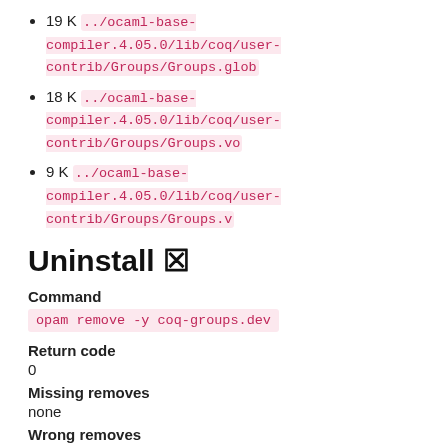19 K ../ocaml-base-compiler.4.05.0/lib/coq/user-contrib/Groups/Groups.glob
18 K ../ocaml-base-compiler.4.05.0/lib/coq/user-contrib/Groups/Groups.vo
9 K ../ocaml-base-compiler.4.05.0/lib/coq/user-contrib/Groups/Groups.v
Uninstall 🗙
Command
opam remove -y coq-groups.dev
Return code
0
Missing removes
none
Wrong removes